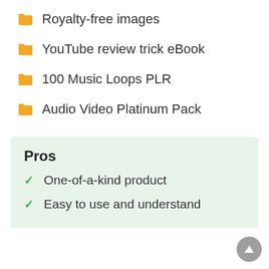Royalty-free images
YouTube review trick eBook
100 Music Loops PLR
Audio Video Platinum Pack
Pros
One-of-a-kind product
Easy to use and understand